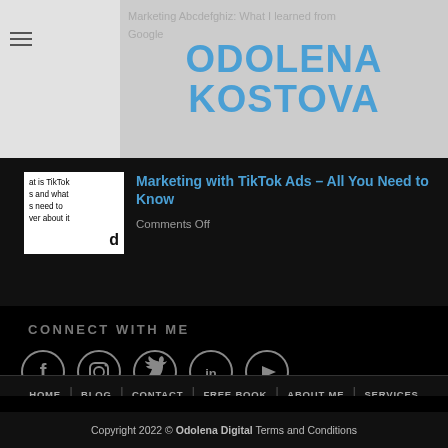ODOLENA KOSTOVA
Marketing Abcdefghiz: What I learned from Google
[Figure (screenshot): TikTok article thumbnail with text: at is TikTok s and what s need to ver about it]
Marketing with TikTok Ads – All You Need to Know
Comments Off
CONNECT WITH ME
[Figure (infographic): Social media icons: Facebook, Instagram, Twitter, LinkedIn, YouTube — white circle outlines on black background]
HOME  BLOG  CONTACT  FREE BOOK  ABOUT ME  SERVICES
Copyright 2022 © Odolena Digital Terms and Conditions